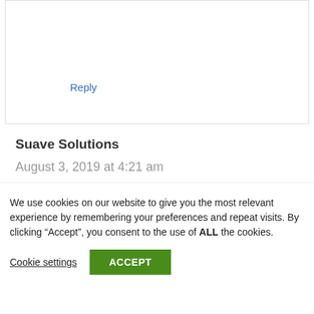Reply
Suave Solutions
August 3, 2019 at 4:21 am
Wow, it looks like I did stumble upon
We use cookies on our website to give you the most relevant experience by remembering your preferences and repeat visits. By clicking “Accept”, you consent to the use of ALL the cookies.
Cookie settings
ACCEPT